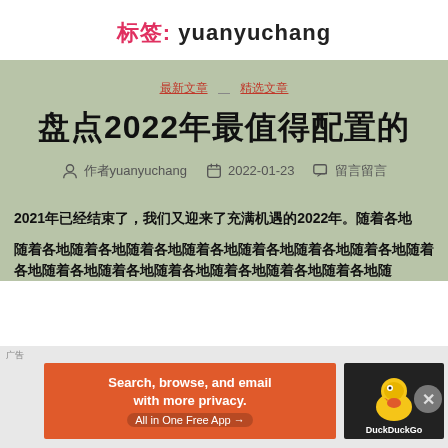标签: yuanyuchang
最新文章  精选文章
盘点2022年最值得配置的
作者yuanyuchang  2022-01-23  留言留言
2021年已经结束了，我们又迎来了充满机遇的2022年。随着各地
随着各地……（文章正文继续）
[Figure (screenshot): DuckDuckGo advertisement banner: Search, browse, and email with more privacy. All in One Free App.]